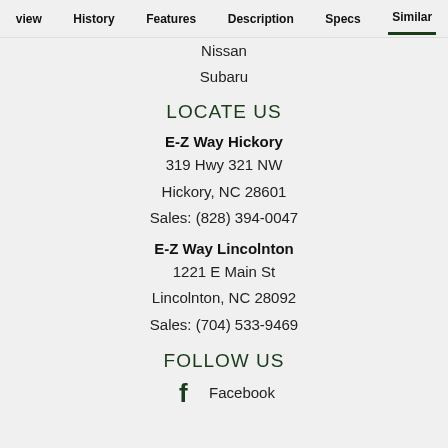view  History  Features  Description  Specs  Similar
Nissan
Subaru
LOCATE US
E-Z Way Hickory
319 Hwy 321 NW
Hickory, NC 28601
Sales: (828) 394-0047
E-Z Way Lincolnton
1221 E Main St
Lincolnton, NC 28092
Sales: (704) 533-9469
FOLLOW US
Facebook